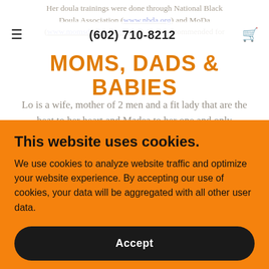Her doula trainings were done through National Black Doula Association (www.nbda.org) and MoDa (www.momsdoulabables.com). Truly recommended for
≡   (602) 710-8212   🛒
MOMS, DADS & BABIES
Lo is a wife, mother of 2 men and a fit lady that are the beat to her heart and Madea to her one and only grandchild that she spoils every chance she can! Lo definitely has a zeal for travel, international and stateside. The salt life is in her blood. Her affinity is
This website uses cookies.
We use cookies to analyze website traffic and optimize your website experience. By accepting our use of cookies, your data will be aggregated with all other user data.
Accept